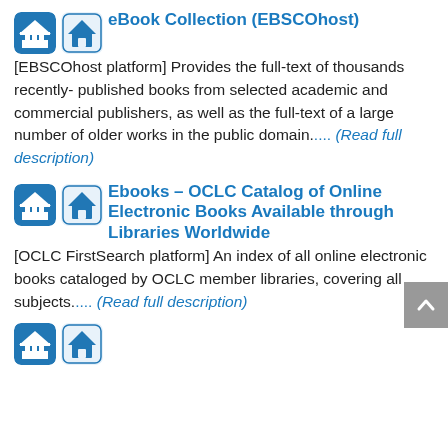[Figure (logo): Two blue icon buttons (library/institution and house icons) for eBook Collection entry]
eBook Collection (EBSCOhost)
[EBSCOhost platform] Provides the full-text of thousands recently- published books from selected academic and commercial publishers, as well as the full-text of a large number of older works in the public domain.... (Read full description)
[Figure (logo): Two blue icon buttons (library/institution and house icons) for Ebooks OCLC entry]
Ebooks – OCLC Catalog of Online Electronic Books Available through Libraries Worldwide
[OCLC FirstSearch platform] An index of all online electronic books cataloged by OCLC member libraries, covering all subjects.... (Read full description)
[Figure (logo): Two blue icon buttons (library/institution and house icons) for third entry (partially visible)]